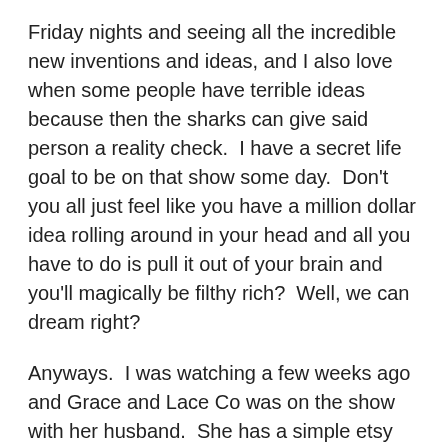Friday nights and seeing all the incredible new inventions and ideas, and I also love when some people have terrible ideas because then the sharks can give said person a reality check.  I have a secret life goal to be on that show some day.  Don't you all just feel like you have a million dollar idea rolling around in your head and all you have to do is pull it out of your brain and you'll magically be filthy rich?  Well, we can dream right?
Anyways.  I was watching a few weeks ago and Grace and Lace Co was on the show with her husband.  She has a simple etsy shop where she sells leg warmers and really adorable long stockings with lace on top.  Since tall boots are all the rage at the moment- these are very popular since they stick out above the boot.  She has 57,364 sales as of this moment and she sells most of her products for $25-$40.  Holy Moses...